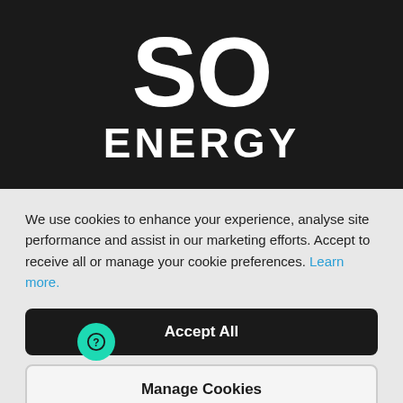[Figure (logo): SO ENERGY logo — large white bold 'SO' text above bold white 'ENERGY' text, on a dark near-black background]
We use cookies to enhance your experience, analyse site performance and assist in our marketing efforts. Accept to receive all or manage your cookie preferences. Learn more.
Accept All
Manage Cookies